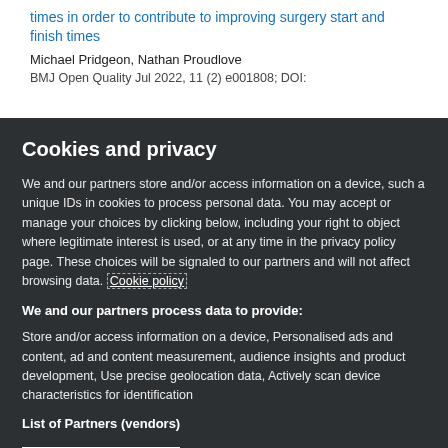times in order to contribute to improving surgery start and finish times
Michael Pridgeon, Nathan Proudlove
BMJ Open Quality Jul 2022, 11 (2) e001808; DOI:
Cookies and privacy
We and our partners store and/or access information on a device, such a unique IDs in cookies to process personal data. You may accept or manage your choices by clicking below, including your right to object where legitimate interest is used, or at any time in the privacy policy page. These choices will be signaled to our partners and will not affect browsing data. Cookie policy
We and our partners process data to provide:
Store and/or access information on a device, Personalised ads and content, ad and content measurement, audience insights and product development, Use precise geolocation data, Actively scan device characteristics for identification
List of Partners (vendors)
I Accept